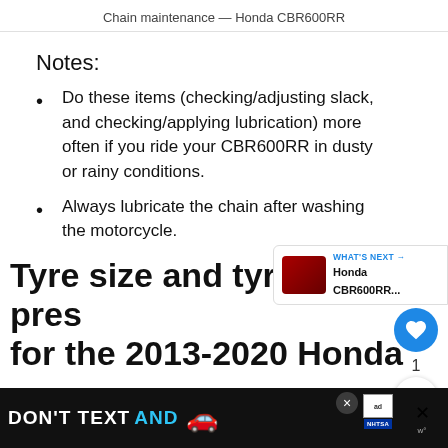Chain maintenance — Honda CBR600RR
Notes:
Do these items (checking/adjusting slack, and checking/applying lubrication) more often if you ride your CBR600RR in dusty or rainy conditions.
Always lubricate the chain after washing the motorcycle.
Tyre size and tyre pressure for the 2013-2020 Honda